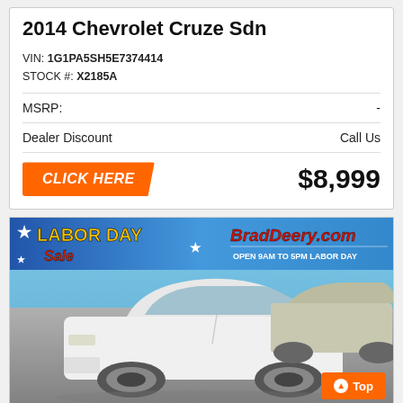2014 Chevrolet Cruze Sdn
VIN: 1G1PA5SH5E7374414
STOCK #: X2185A
| MSRP: | - |
| Dealer Discount | Call Us |
CLICK HERE   $8,999
[Figure (photo): Photo of a white Chevrolet SUV/crossover at a dealership lot with a Labor Day Sale banner showing BradDeery.com and hours OPEN 9AM TO 5PM LABOR DAY. A silver SUV is visible in the background.]